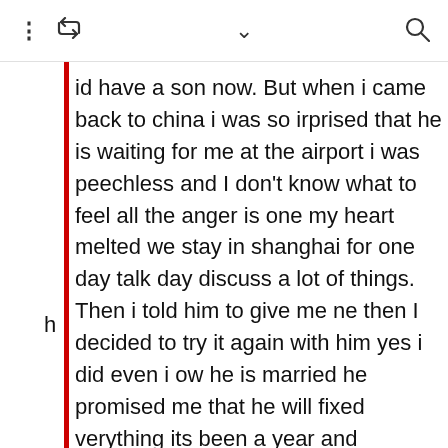⋮ 🔁 ∨ 🔍
id have a son now. But when i came back to china i was so irprised that he is waiting for me at the airport i was peechless and I don't know what to feel all the anger is one my heart melted we stay in shanghai for one day talk day discuss a lot of things. Then i told him to give me ne then I decided to try it again with him yes i did even i ow he is married he promised me that he will fixed verything its been a year and everything seems fine. I id my vacation again for a month then I noticed that i was elayed I bought a pt and check turned out positive i go to y doctor OB to make sure its not a mistake but i am ally pregnant i was scared and worried about what will ippen then i told him he was shocked and he told me he scared that he can't have another kid not now. But what iould i do. I came back to china one month he didn't show who contacted me but never show himself he said he